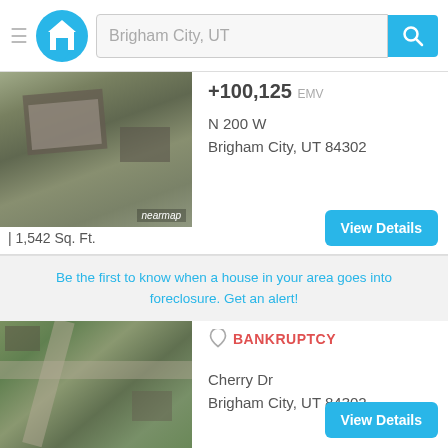[Figure (screenshot): App header with hamburger menu, house logo, Brigham City UT search bar, and search button]
[Figure (photo): Aerial nearmap photo of property at N 200 W, Brigham City UT 84302]
+100,125 EMV
N 200 W
Brigham City, UT 84302
| 1,542 Sq. Ft.
Be the first to know when a house in your area goes into foreclosure. Get an alert!
[Figure (photo): Aerial photo of property on Cherry Dr, Brigham City UT 84302]
BANKRUPTCY
Cherry Dr
Brigham City, UT 84302